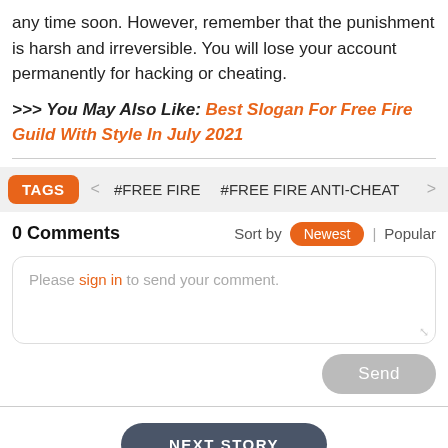any time soon. However, remember that the punishment is harsh and irreversible. You will lose your account permanently for hacking or cheating.
>>> You May Also Like: Best Slogan For Free Fire Guild With Style In July 2021
TAGS  < #FREE FIRE  #FREE FIRE ANTI-CHEAT  >
0 Comments  Sort by Newest | Popular
Please sign in to send your comment.
Send
NEXT STORY